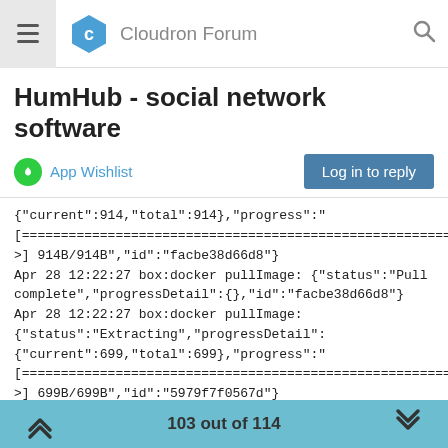Cloudron Forum
HumHub - social network software
App Wishlist
Log in to reply
{"current":914,"total":914},{"progress":""
[============================================================
>] 914B/914B","id":"facbe38d66d8"}
Apr 28 12:22:27 box:docker pullImage: {"status":"Pull complete","progressDetail":{},"id":"facbe38d66d8"}
Apr 28 12:22:27 box:docker pullImage: {"status":"Extracting","progressDetail":
{"current":699,"total":699},{"progress":""
[============================================================
>] 699B/699B","id":"5979f7f0567d"}
Apr 28 12:22:27 box:docker pullImage: {"status":"Extracting","progressDetail":
{"current":699,"total":699},{"progress":""
[
103 out of 114